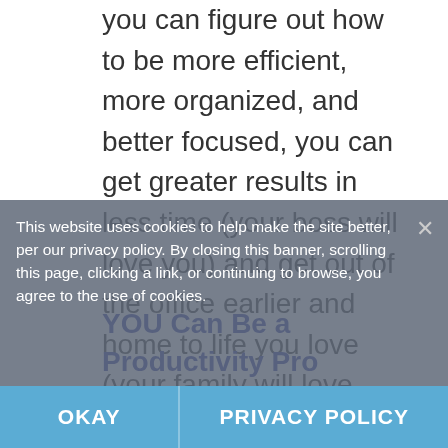you can figure out how to be more efficient, more organized, and better focused, you can get greater results in less time (your boss will love you) and get out of the office earlier and home to life you love (your family will love you).
YOU Can Be a Productivity Pro Teambuilding Gameshow
Using a hysterical, fast-paced, game-show format, your audience members will compete over the bragging rights to the title "THE (your meeting here) PRODUCTIVITY PRO!" Using whole-audience techniques and multi-media, everyone will be involved, all the while building stronger teams and learning what it takes to be productive in today's busy workplaces. You can expect musical
This website uses cookies to help make the site better, per our privacy policy. By closing this banner, scrolling this page, clicking a link, or continuing to browse, you agree to the use of cookies.
OKAY
PRIVACY POLICY